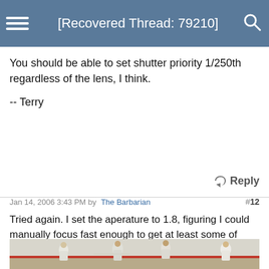[Recovered Thread: 79210]
You should be able to set shutter priority 1/250th regardless of the lens, I think.

-- Terry
Reply
Jan 14, 2006 3:43 PM by The Barbarian  #12
Tried again. I set the aperature to 1.8, figuring I could manually focus fast enough to get at least some of them right. The additional light made it a lot easier.
[Figure (photo): Photo of female basketball players in action on an indoor court, players wearing white jerseys with red trim]